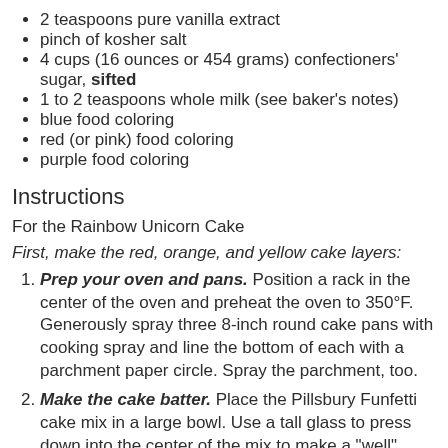2 teaspoons pure vanilla extract
pinch of kosher salt
4 cups (16 ounces or 454 grams) confectioners' sugar, sifted
1 to 2 teaspoons whole milk (see baker's notes)
blue food coloring
red (or pink) food coloring
purple food coloring
Instructions
For the Rainbow Unicorn Cake
First, make the red, orange, and yellow cake layers:
Prep your oven and pans. Position a rack in the center of the oven and preheat the oven to 350°F. Generously spray three 8-inch round cake pans with cooking spray and line the bottom of each with a parchment paper circle. Spray the parchment, too.
Make the cake batter. Place the Pillsbury Funfetti cake mix in a large bowl. Use a tall glass to press down into the center of the mix to make a "well".
Pour the water, oil, and egg whites into the well and mix